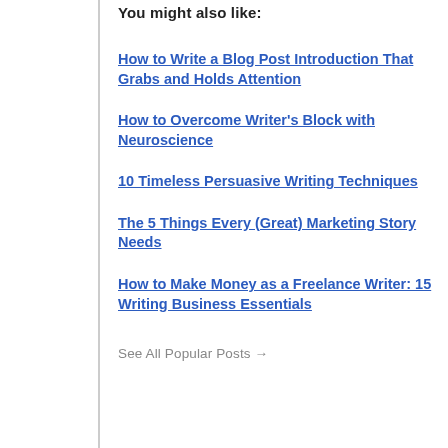You might also like:
How to Write a Blog Post Introduction That Grabs and Holds Attention
How to Overcome Writer's Block with Neuroscience
10 Timeless Persuasive Writing Techniques
The 5 Things Every (Great) Marketing Story Needs
How to Make Money as a Freelance Writer: 15 Writing Business Essentials
See All Popular Posts →